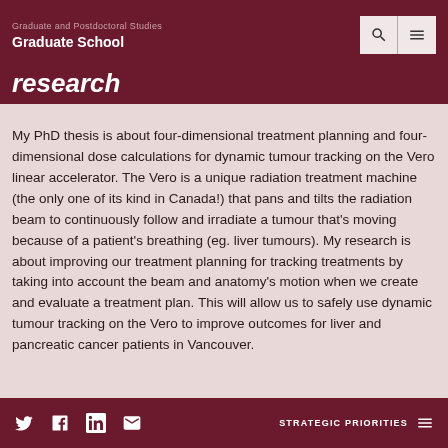Graduate and Postdoctoral Studies
Graduate School
research
My PhD thesis is about four-dimensional treatment planning and four-dimensional dose calculations for dynamic tumour tracking on the Vero linear accelerator. The Vero is a unique radiation treatment machine (the only one of its kind in Canada!) that pans and tilts the radiation beam to continuously follow and irradiate a tumour that's moving because of a patient's breathing (eg. liver tumours). My research is about improving our treatment planning for tracking treatments by taking into account the beam and anatomy's motion when we create and evaluate a treatment plan. This will allow us to safely use dynamic tumour tracking on the Vero to improve outcomes for liver and pancreatic cancer patients in Vancouver.
STRATEGIC PRIORITIES